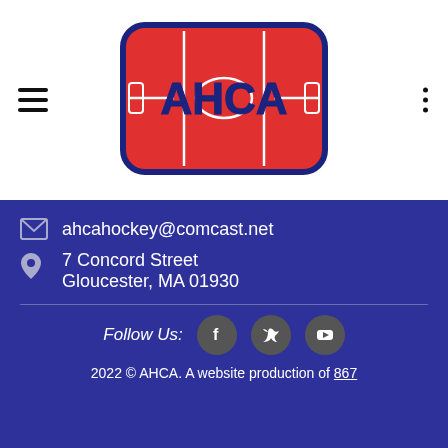[Figure (logo): AHCA hockey logo — red rounded rectangle with hockey rink lines and AHCA text in blue, bordered in navy blue]
ahcahockey@comcast.net
7 Concord Street
Gloucester, MA 01930
Follow Us:
2022 © AHCA.  A website production of 867